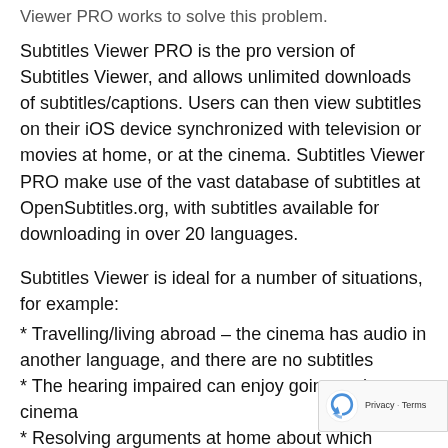Viewer PRO works to solve this problem.
Subtitles Viewer PRO is the pro version of Subtitles Viewer, and allows unlimited downloads of subtitles/captions. Users can then view subtitles on their iOS device synchronized with television or movies at home, or at the cinema. Subtitles Viewer PRO make use of the vast database of subtitles at OpenSubtitles.org, with subtitles available for downloading in over 20 languages.
Subtitles Viewer is ideal for a number of situations, for example:
* Travelling/living abroad – the cinema has audio in another language, and there are no subtitles
* The hearing impaired can enjoy going to the cinema
* Resolving arguments at home about which language the subtitles should be in
“I’m always really pleased to see an app that serves a broader audience. Subtitles Viewer looks great.